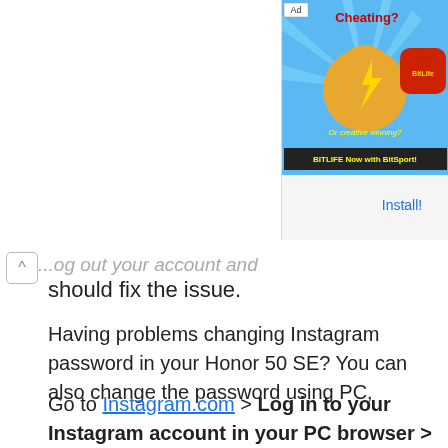[Figure (screenshot): Advertisement banner for BitLife app showing 'Cheating? Or creative winning?' with flexing arm emoji on blue background, and BitLife app icon in red]
Install!
...log out your account and log in again. This should fix the issue.
Having problems changing Instagram password in your Honor 50 SE? You can also change the password using PC,
Go to Instagram.com > Log in to your Instagram account in your PC browser > Go to your profile by clicking on the top right corner > Go to Settings and select “Change password.”